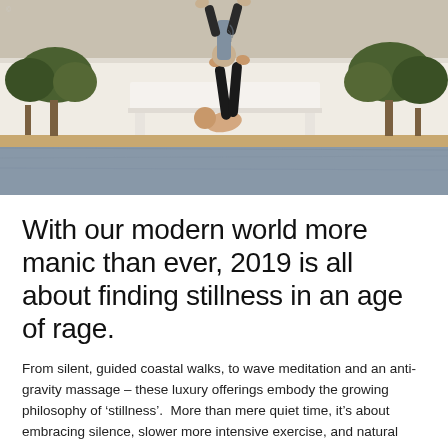[Figure (photo): Two people performing an acro-yoga pose (partner headstand) outdoors by a reflective pool, with white walls and Mediterranean vegetation in the background.]
With our modern world more manic than ever, 2019 is all about finding stillness in an age of rage.
From silent, guided coastal walks, to wave meditation and an anti-gravity massage – these luxury offerings embody the growing philosophy of 'stillness'.  More than mere quiet time, it's about embracing silence, slower more intensive exercise, and natural surroundings – all working together to bring a greater sense of inner